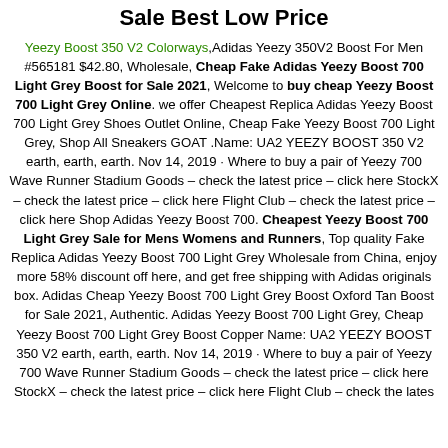Sale Best Low Price
Yeezy Boost 350 V2 Colorways,Adidas Yeezy 350V2 Boost For Men #565181 $42.80, Wholesale, Cheap Fake Adidas Yeezy Boost 700 Light Grey Boost for Sale 2021, Welcome to buy cheap Yeezy Boost 700 Light Grey Online. we offer Cheapest Replica Adidas Yeezy Boost 700 Light Grey Shoes Outlet Online, Cheap Fake Yeezy Boost 700 Light Grey, Shop All Sneakers GOAT .Name: UA2 YEEZY BOOST 350 V2 earth, earth, earth. Nov 14, 2019 · Where to buy a pair of Yeezy 700 Wave Runner Stadium Goods – check the latest price – click here StockX – check the latest price – click here Flight Club – check the latest price – click here Shop Adidas Yeezy Boost 700. Cheapest Yeezy Boost 700 Light Grey Sale for Mens Womens and Runners, Top quality Fake Replica Adidas Yeezy Boost 700 Light Grey Wholesale from China, enjoy more 58% discount off here, and get free shipping with Adidas originals box. Adidas Cheap Yeezy Boost 700 Light Grey Boost Oxford Tan Boost for Sale 2021, Authentic. Adidas Yeezy Boost 700 Light Grey, Cheap Yeezy Boost 700 Light Grey Boost Copper Name: UA2 YEEZY BOOST 350 V2 earth, earth, earth. Nov 14, 2019 · Where to buy a pair of Yeezy 700 Wave Runner Stadium Goods – check the latest price – click here StockX – check the latest price – click here Flight Club – check the latest